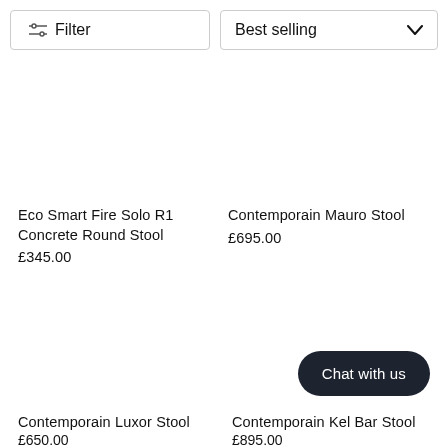Filter
Best selling
Eco Smart Fire Solo R1 Concrete Round Stool
£345.00
Contemporain Mauro Stool
£695.00
Chat with us
Contemporain Luxor Stool
£650.00
Contemporain Kel Bar Stool
£895.00